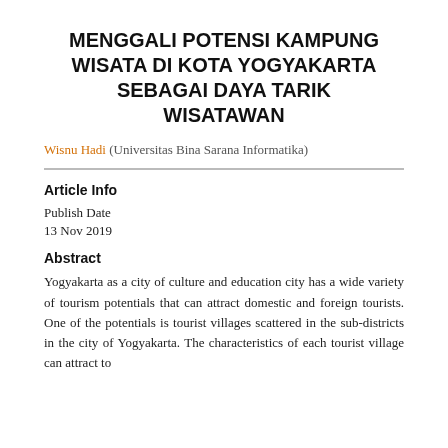MENGGALI POTENSI KAMPUNG WISATA DI KOTA YOGYAKARTA SEBAGAI DAYA TARIK WISATAWAN
Wisnu Hadi (Universitas Bina Sarana Informatika)
Article Info
Publish Date
13 Nov 2019
Abstract
Yogyakarta as a city of culture and education city has a wide variety of tourism potentials that can attract domestic and foreign tourists. One of the potentials is tourist villages scattered in the sub-districts in the city of Yogyakarta. The characteristics of each tourist village can attract to